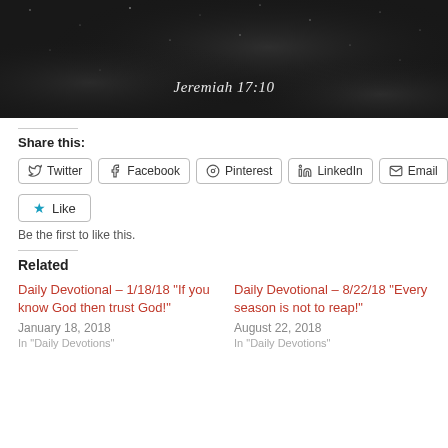[Figure (photo): Dark starry night sky / galaxy background image with italic text 'Jeremiah 17:10' centered near the bottom]
Share this:
Twitter  Facebook  Pinterest  LinkedIn  Email
Like  Be the first to like this.
Related
Daily Devotional – 1/18/18 "If you know God then trust God!"
January 18, 2018
Daily Devotional – 8/22/18 "Every season is not to reap!"
August 22, 2018